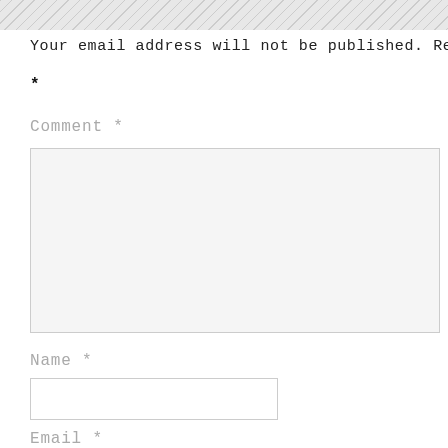Your email address will not be published. Requi
*
Comment *
[Figure (screenshot): Empty textarea input field with light gray background and thin border]
Name *
[Figure (screenshot): Empty single-line text input field with white background and thin border]
Email *